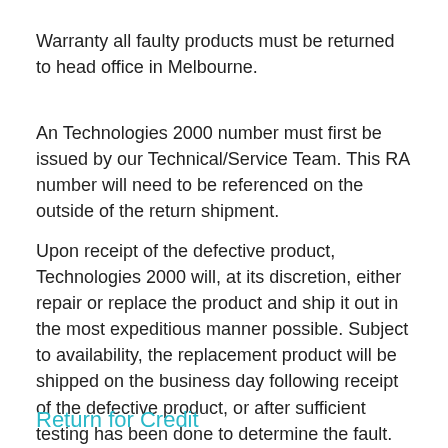Warranty all faulty products must be returned to head office in Melbourne.
An Technologies 2000 number must first be issued by our Technical/Service Team. This RA number will need to be referenced on the outside of the return shipment.
Upon receipt of the defective product, Technologies 2000 will, at its discretion, either repair or replace the product and ship it out in the most expeditious manner possible. Subject to availability, the replacement product will be shipped on the business day following receipt of the defective product, or after sufficient testing has been done to determine the fault.
Return for Credit